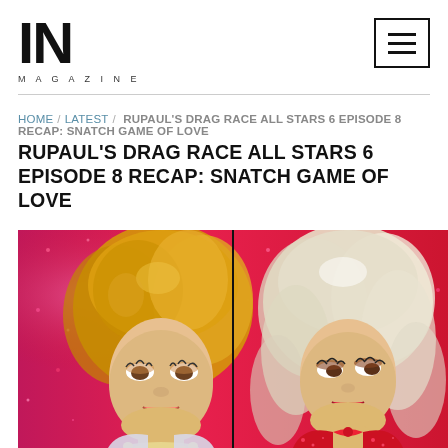IN MAGAZINE
HOME / LATEST / RUPAUL'S DRAG RACE ALL STARS 6 EPISODE 8 RECAP: SNATCH GAME OF LOVE
[Figure (photo): Two drag performers on a red glittery background. Left performer has a large curly golden-blonde wig and wears silver/white outfit with rhinestone necklace, mouth slightly open. Right performer has a large teased platinum-blonde wig and wears a red sparkly outfit with red bow/necktie, looking sideways.]